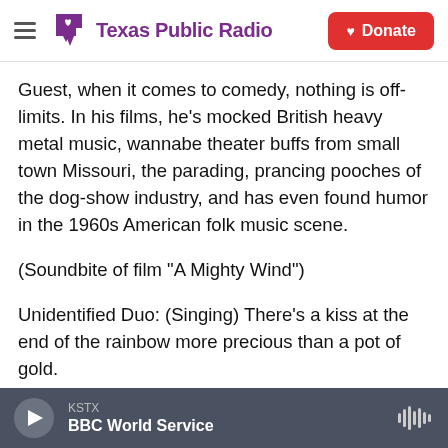Texas Public Radio | Donate
Guest, when it comes to comedy, nothing is off-limits. In his films, he's mocked British heavy metal music, wannabe theater buffs from small town Missouri, the parading, prancing pooches of the dog-show industry, and has even found humor in the 1960s American folk music scene.
(Soundbite of film "A Mighty Wind")
Unidentified Duo: (Singing) There's a kiss at the end of the rainbow more precious than a pot of gold.
SEABROOK: The chords may change and the
KSTX | BBC World Service